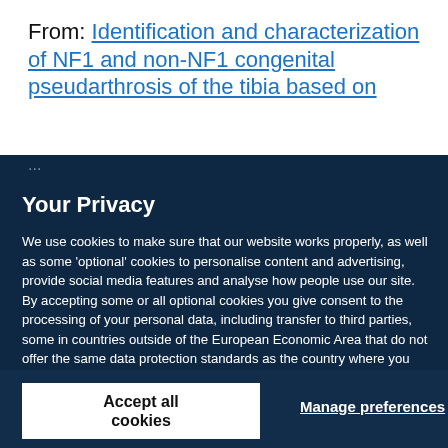From: Identification and characterization of NF1 and non-NF1 congenital pseudarthrosis of the tibia based on ...
Your Privacy
We use cookies to make sure that our website works properly, as well as some 'optional' cookies to personalise content and advertising, provide social media features and analyse how people use our site. By accepting some or all optional cookies you give consent to the processing of your personal data, including transfer to third parties, some in countries outside of the European Economic Area that do not offer the same data protection standards as the country where you live. You can decide which optional cookies to accept by clicking on 'Manage Settings', where you can also find more information about how your personal data is processed. Further information can be found in our privacy policy.
Accept all cookies
Manage preferences